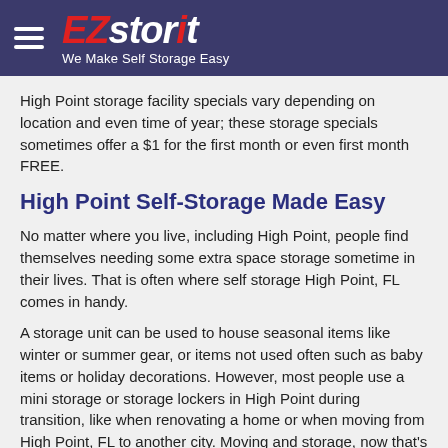EZstorit — We Make Self Storage Easy
High Point storage facility specials vary depending on location and even time of year; these storage specials sometimes offer a $1 for the first month or even first month FREE.
High Point Self-Storage Made Easy
No matter where you live, including High Point, people find themselves needing some extra space storage sometime in their lives. That is often where self storage High Point, FL comes in handy.
A storage unit can be used to house seasonal items like winter or summer gear, or items not used often such as baby items or holiday decorations. However, most people use a mini storage or storage lockers in High Point during transition, like when renovating a home or when moving from High Point, FL to another city. Moving and storage, now that's a concept worth investigating!